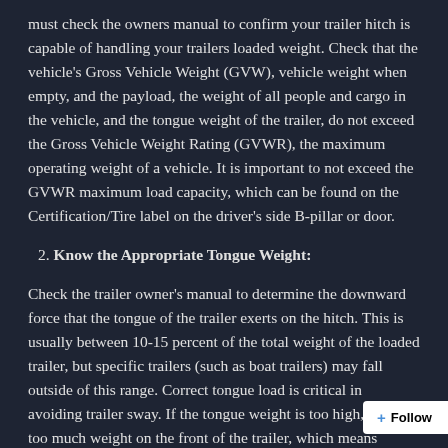must check the owners manual to confirm your trailer hitch is capable of handling your trailers loaded weight. Check that the vehicle's Gross Vehicle Weight (GVW), vehicle weight when empty, and the payload, the weight of all people and cargo in the vehicle, and the tongue weight of the trailer, do not exceed the Gross Vehicle Weight Rating (GVWR), the maximum operating weight of a vehicle. It is important to not exceed the GVWR maximum load capacity, which can be found on the Certification/Tire label on the driver's side B-pillar or door.
2. Know the Appropriate Tongue Weight:
Check the trailer owner's manual to determine the downward force that the tongue of the trailer exerts on the hitch. This is usually between 10-15 percent of the total weight of the loaded trailer, but specific trailers (such as boat trailers) may fall outside of this range. Correct tongue load is critical in avoiding trailer sway. If the tongue weight is too high, there's too much weight on the front of the trailer, which means there's extra weight on the vehicle's rear tires and too little weight on the front tires. You'll find steering to be a little squirrelly, and you'll want to redistribute some weigh to the back aft. If you don't have enough weight on the tongue...